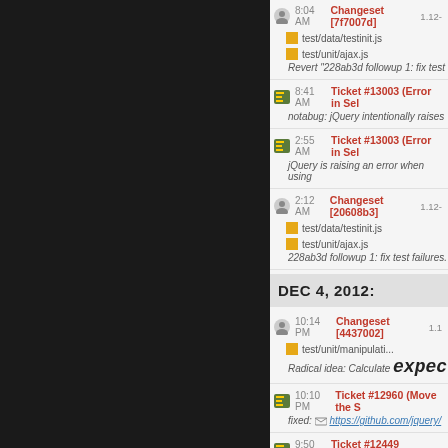8:04 AM Changeset [7f7007d] 1.12-...
test/data/testinit.js
test/unit/ajax.js
Revert "228ab3d followup 1: fix test
8:41 AM Ticket #13003 (Error in Sel...
notabug: jQuery intentionally raises
2:55 AM Ticket #13003 (Error in Sel...
jQuery is raising an error when using
2:12 AM Changeset [20608b3] 1.12-...
test/data/testinit.js
test/unit/ajax.js
228ab3d followup 1: fix test failures.
DEC 4, 2012:
10:14 PM Changeset [4437002] 1.1...
test/unit/manipulati...
Radical idea: Calculate expect
10:10 PM Ticket #12960 (Move the S...
fixed: https://github.com/jquery/...
9:50 PM Ticket #12449 (replaceWith...
fixed: Fixes #12449, make replaceW...
9:00 PM Changeset [551c2c9f] 1.12...